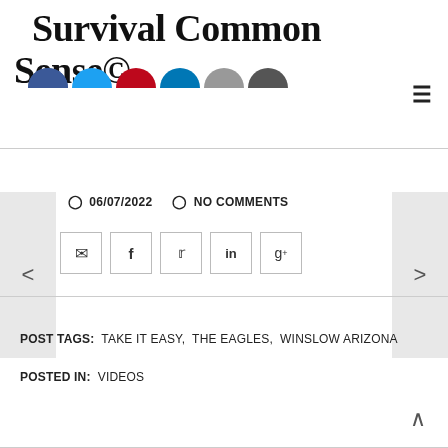Survival Common Sense©
[Figure (illustration): Row of six social media icon circles (Facebook blue, Twitter light blue, Pinterest red, LinkedIn blue, email gray, other dark gray) shown as half-circles at the top of the page]
≡
06/07/2022   NO COMMENTS
[Figure (illustration): Share buttons row: email envelope icon, Facebook f, Twitter bird, LinkedIn in, Google+ g+ — each in a square bordered box]
POST TAGS:  TAKE IT EASY,  THE EAGLES,  WINSLOW ARIZONA
POSTED IN:  VIDEOS